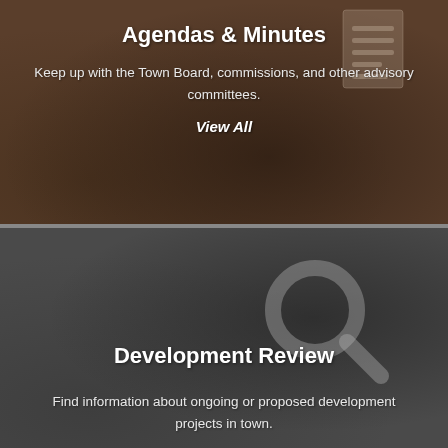[Figure (screenshot): Top section with dark brown background showing a gavel and document icon, for Agendas & Minutes]
Agendas & Minutes
Keep up with the Town Board, commissions, and other advisory committees.
View All
[Figure (screenshot): Bottom section with dark gray background showing blueprints and magnifier icon, for Development Review]
Development Review
Find information about ongoing or proposed development projects in town.
Learn More